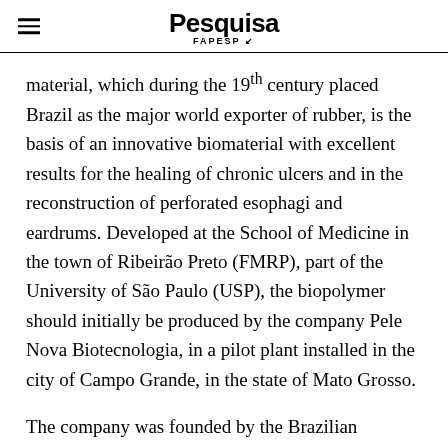Pesquisa FAPESP
material, which during the 19th century placed Brazil as the major world exporter of rubber, is the basis of an innovative biomaterial with excellent results for the healing of chronic ulcers and in the reconstruction of perforated esophagi and eardrums. Developed at the School of Medicine in the town of Ribeirão Preto (FMRP), part of the University of São Paulo (USP), the biopolymer should initially be produced by the company Pele Nova Biotecnologia, in a pilot plant installed in the city of Campo Grande, in the state of Mato Grosso.
The company was founded by the Brazilian Academy for Advanced Studies, a non-government organization